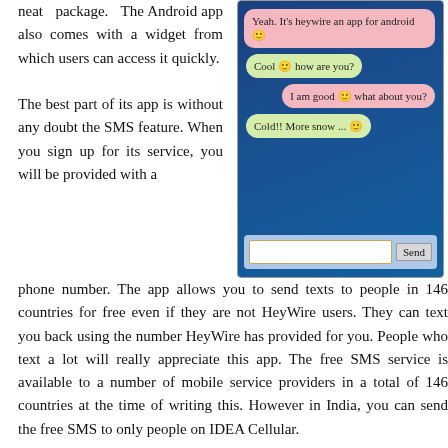neat package. The Android app also comes with a widget from which users can access it quickly.
[Figure (screenshot): Screenshot of HeyWire chat app interface showing conversation bubbles in pink and green on a blue background, with a text input field and Send button at the bottom.]
The best part of its app is without any doubt the SMS feature. When you sign up for its service, you will be provided with a phone number. The app allows you to send texts to people in 146 countries for free even if they are not HeyWire users. They can text you back using the number HeyWire has provided for you. People who text a lot will really appreciate this app. The free SMS service is available to a number of mobile service providers in a total of 146 countries at the time of writing this. However in India, you can send the free SMS to only people on IDEA Cellular.
One thing to note though, the number HeyWire provides is